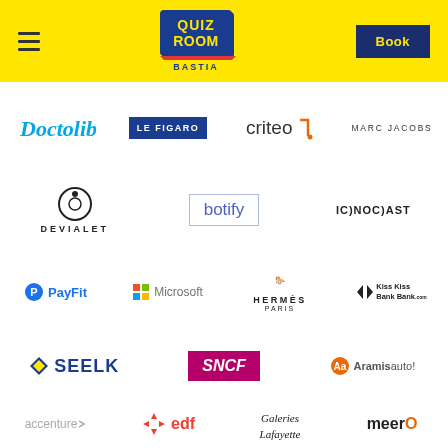[Figure (logo): Quiz Room Bastia website header with yellow background, hamburger menu, Quiz Room Bastia logo, and Book button]
[Figure (logo): Doctolib logo]
[Figure (logo): Le Figaro logo]
[Figure (logo): Criteo logo]
[Figure (logo): Marc Jacobs logo]
[Figure (logo): Devialet logo]
[Figure (logo): Botify logo]
[Figure (logo): Iconoclast logo]
[Figure (logo): PayFit logo]
[Figure (logo): Microsoft logo]
[Figure (logo): Hermès Paris logo]
[Figure (logo): Kiss Kiss Bank Bank logo]
[Figure (logo): Seelk logo]
[Figure (logo): SNCF logo]
[Figure (logo): Aramis Auto logo]
[Figure (logo): Accenture logo]
[Figure (logo): EDF logo]
[Figure (logo): Galeries Lafayette logo]
[Figure (logo): Meero logo]